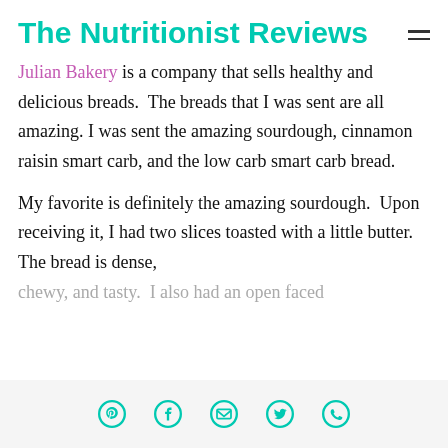The Nutritionist Reviews
Julian Bakery is a company that sells healthy and delicious breads.  The breads that I was sent are all amazing. I was sent the amazing sourdough, cinnamon raisin smart carb, and the low carb smart carb bread.
My favorite is definitely the amazing sourdough.  Upon receiving it, I had two slices toasted with a little butter. The bread is dense, chewy, and tasty.  I also had an open faced
Social share icons: Pinterest, Facebook, Email, Twitter, WhatsApp